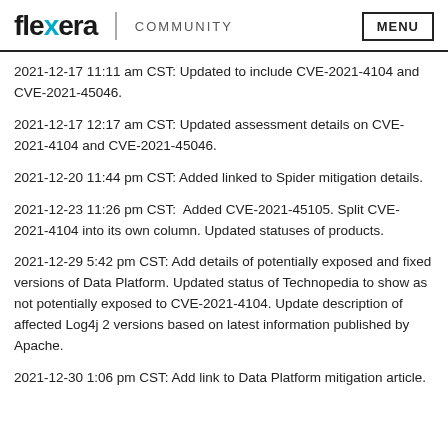Flexera | COMMUNITY   MENU
2021-12-17 11:11 am CST: Updated to include CVE-2021-4104 and CVE-2021-45046.
2021-12-17 12:17 am CST: Updated assessment details on CVE-2021-4104 and CVE-2021-45046.
2021-12-20 11:44 pm CST: Added linked to Spider mitigation details.
2021-12-23 11:26 pm CST:  Added CVE-2021-45105. Split CVE-2021-4104 into its own column. Updated statuses of products.
2021-12-29 5:42 pm CST: Add details of potentially exposed and fixed versions of Data Platform. Updated status of Technopedia to show as not potentially exposed to CVE-2021-4104. Update description of affected Log4j 2 versions based on latest information published by Apache.
2021-12-30 1:06 pm CST: Add link to Data Platform mitigation article.